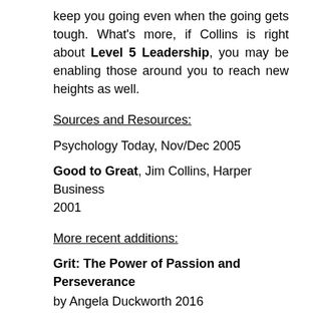keep you going even when the going gets tough. What's more, if Collins is right about Level 5 Leadership, you may be enabling those around you to reach new heights as well.
Sources and Resources:
Psychology Today, Nov/Dec 2005
Good to Great, Jim Collins, Harper Business 2001
More recent additions:
Grit: The Power of Passion and Perseverance by Angela Duckworth 2016